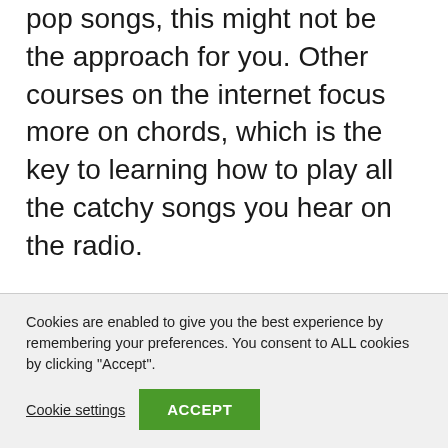pop songs, this might not be the approach for you. Other courses on the internet focus more on chords, which is the key to learning how to play all the catchy songs you hear on the radio.
The right lessons for you largely depend on your goals. So, before you head out and search for online piano lessons, make sure to make a proper assessment
Cookies are enabled to give you the best experience by remembering your preferences. You consent to ALL cookies by clicking "Accept".
Cookie settings
ACCEPT